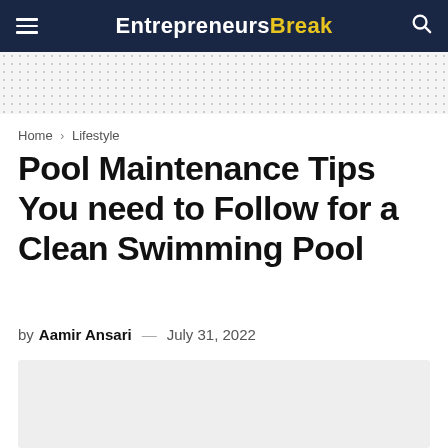EntrepreneursBreak
Home > Lifestyle
Pool Maintenance Tips You need to Follow for a Clean Swimming Pool
by Aamir Ansari — July 31, 2022
[Figure (photo): Light grey image placeholder for article featured image]